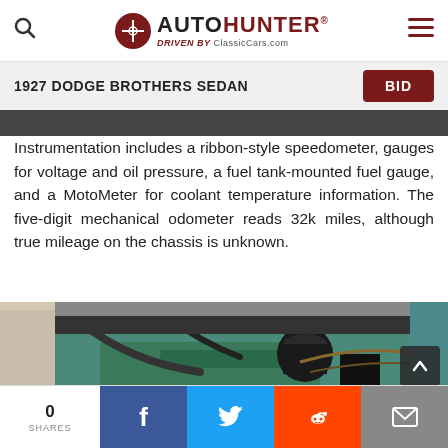[Figure (logo): AutoHunter logo with search icon on left and hamburger menu on right]
1927 DODGE BROTHERS SEDAN
Instrumentation includes a ribbon-style speedometer, gauges for voltage and oil pressure, a fuel tank-mounted fuel gauge, and a MotoMeter for coolant temperature information. The five-digit mechanical odometer reads 32k miles, although true mileage on the chassis is unknown.
[Figure (photo): Engine bay of a 1927 Dodge Brothers Sedan, showing a green painted engine with black cylindrical components and wiring]
0 SHARES | Facebook | Twitter | Reddit | Email